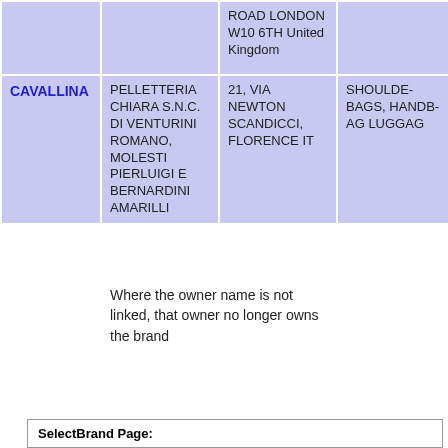| Brand | Owner | Address | Goods/Services |
| --- | --- | --- | --- |
|  |  | ROAD LONDON W10 6TH United Kingdom |  |
| CAVALLINA | PELLETTERIA CHIARA S.N.C. DI VENTURINI ROMANO, MOLESTI PIERLUIGI E BERNARDINI AMARILLI | 21, VIA NEWTON SCANDICCI, FLORENCE IT | SHOULDER BAGS, HANDBAGS, LUGGAGE |
Where the owner name is not linked, that owner no longer owns the brand
SelectBrand Page: